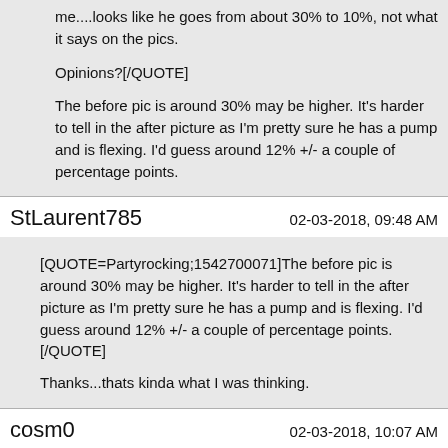me....looks like he goes from about 30% to 10%, not what it says on the pics.

Opinions?[/QUOTE]

The before pic is around 30% may be higher. It's harder to tell in the after picture as I'm pretty sure he has a pump and is flexing. I'd guess around 12% +/- a couple of percentage points.
StLaurent785
02-03-2018, 09:48 AM
[QUOTE=Partyrocking;1542700071]The before pic is around 30% may be higher. It's harder to tell in the after picture as I'm pretty sure he has a pump and is flexing. I'd guess around 12% +/- a couple of percentage points.[/QUOTE]

Thanks...thats kinda what I was thinking.
cosm0
02-03-2018, 10:07 AM
Looking to get an update as it's been a while since I